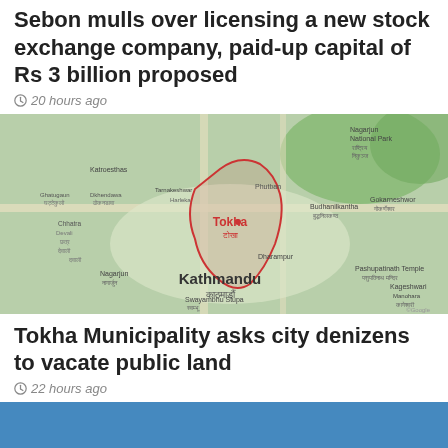Sebon mulls over licensing a new stock exchange company, paid-up capital of Rs 3 billion proposed
20 hours ago
[Figure (map): Google map showing Tokha Municipality area in Kathmandu, Nepal, with a red outlined region highlighting Tokha and surrounding areas including Kathmandu city center.]
Tokha Municipality asks city denizens to vacate public land
22 hours ago
[Figure (photo): Photo of a man wearing glasses and a grey suit jacket, seated, appearing to speak at an event, against a blue background.]